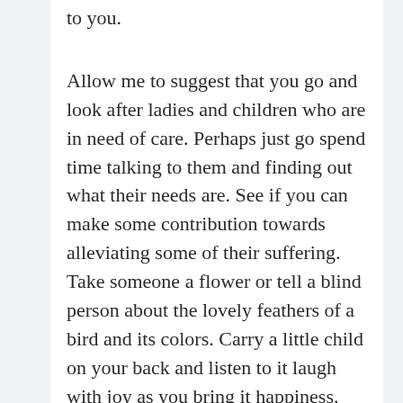to you.
Allow me to suggest that you go and look after ladies and children who are in need of care. Perhaps just go spend time talking to them and finding out what their needs are. See if you can make some contribution towards alleviating some of their suffering. Take someone a flower or tell a blind person about the lovely feathers of a bird and its colors. Carry a little child on your back and listen to it laugh with joy as you bring it happiness. Touch an old person with kindness by rubbing her painful joints and obtain her blessings. Smile to the beggar whom you may have seen many times before but never taken real notice of. Greet her and say